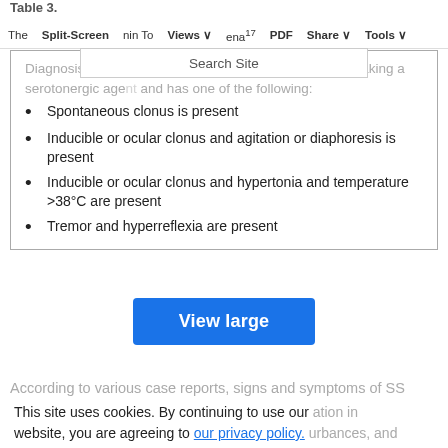Table 3.
The Serotonin Toxidrome | Split-Screen | Views | PDF | Share | Tools | Search Site
Diagnosis of serotonin toxicity can be made if patient is taking a serotonergic agent and has one of the following:
Spontaneous clonus is present
Inducible or ocular clonus and agitation or diaphoresis is present
Inducible or ocular clonus and hypertonia and temperature >38°C are present
Tremor and hyperreflexia are present
According to various case reports, signs and symptoms of SS
This site uses cookies. By continuing to use our website, you are agreeing to our privacy policy. Accept
neurologic manifestations. Mental status changes may